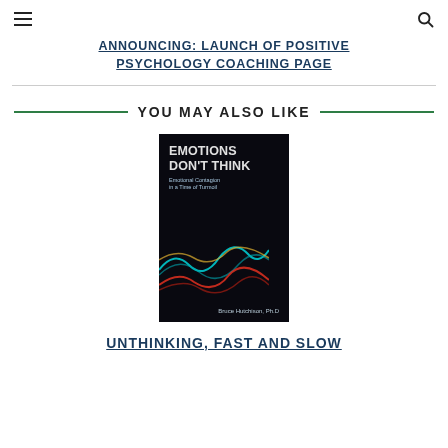≡  🔍
ANNOUNCING: LAUNCH OF POSITIVE PSYCHOLOGY COACHING PAGE
YOU MAY ALSO LIKE
[Figure (photo): Book cover of 'Emotions Don't Think: Emotional Contagion in a Time of Turmoil' by Bruce Hutchison, Ph.D. Dark background with colorful waveform graphics.]
UNTHINKING, FAST AND SLOW